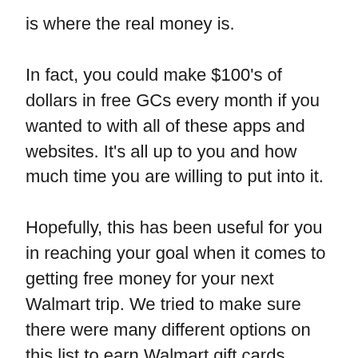is where the real money is.
In fact, you could make $100's of dollars in free GCs every month if you wanted to with all of these apps and websites. It's all up to you and how much time you are willing to put into it.
Hopefully, this has been useful for you in reaching your goal when it comes to getting free money for your next Walmart trip. We tried to make sure there were many different options on this list to earn Walmart gift cards, including no surveys or no participation required methods.